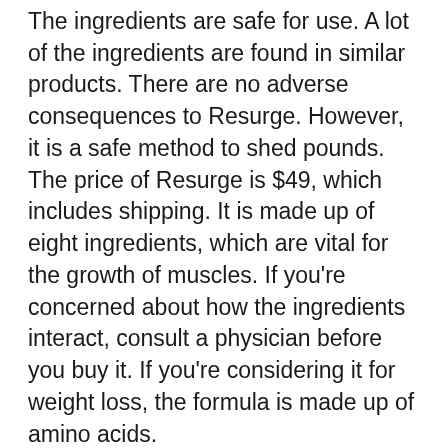The ingredients are safe for use. A lot of the ingredients are found in similar products. There are no adverse consequences to Resurge. However, it is a safe method to shed pounds. The price of Resurge is $49, which includes shipping. It is made up of eight ingredients, which are vital for the growth of muscles. If you're concerned about how the ingredients interact, consult a physician before you buy it. If you're considering it for weight loss, the formula is made up of amino acids.
Resurge is an excellent product to reduce body fat in the morning. It works by boosting GABA and serotonin which are two neurotransmitters that affect your mood and ability to fall asleep. This supplement isn't an